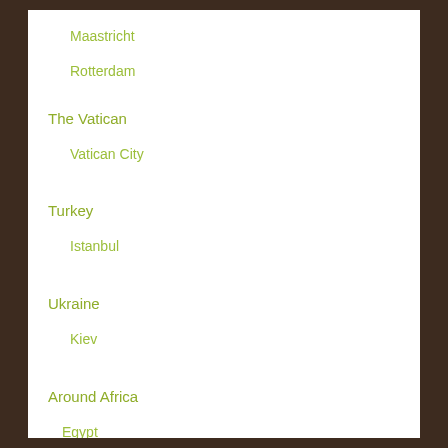Maastricht
Rotterdam
The Vatican
Vatican City
Turkey
Istanbul
Ukraine
Kiev
Around Africa
Egypt
Cairo